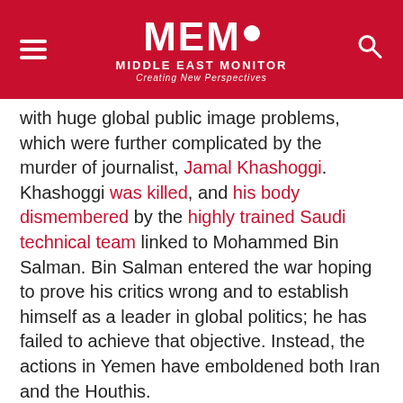MEMO MIDDLE EAST MONITOR — Creating New Perspectives
with huge global public image problems, which were further complicated by the murder of journalist, Jamal Khashoggi. Khashoggi was killed, and his body dismembered by the highly trained Saudi technical team linked to Mohammed Bin Salman. Bin Salman entered the war hoping to prove his critics wrong and to establish himself as a leader in global politics; he has failed to achieve that objective. Instead, the actions in Yemen have emboldened both Iran and the Houthis.
The views expressed in this article belong to the author and do not necessarily reflect the editorial